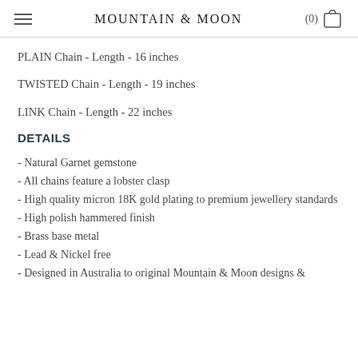MOUNTAIN & MOON
PLAIN Chain  - Length - 16 inches
TWISTED Chain - Length - 19 inches
LINK Chain - Length - 22 inches
DETAILS
- Natural Garnet gemstone
- All chains feature a lobster clasp
- High quality micron 18K gold plating to premium jewellery standards
- High polish hammered finish
- Brass base metal
- Lead & Nickel free
- Designed in Australia to original Mountain & Moon designs &